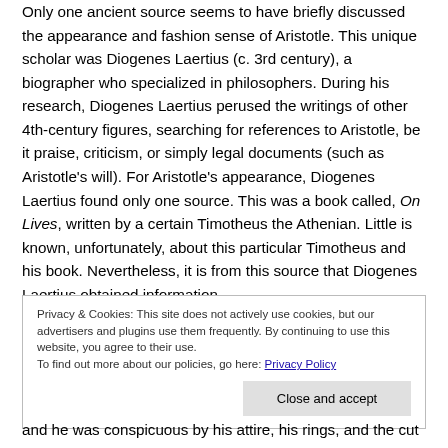Only one ancient source seems to have briefly discussed the appearance and fashion sense of Aristotle. This unique scholar was Diogenes Laertius (c. 3rd century), a biographer who specialized in philosophers. During his research, Diogenes Laertius perused the writings of other 4th-century figures, searching for references to Aristotle, be it praise, criticism, or simply legal documents (such as Aristotle's will). For Aristotle's appearance, Diogenes Laertius found only one source. This was a book called, On Lives, written by a certain Timotheus the Athenian. Little is known, unfortunately, about this particular Timotheus and his book. Nevertheless, it is from this source that Diogenes Laertius obtained information
Privacy & Cookies: This site does not actively use cookies, but our advertisers and plugins use them frequently. By continuing to use this website, you agree to their use. To find out more about our policies, go here: Privacy Policy
and he was conspicuous by his attire, his rings, and the cut